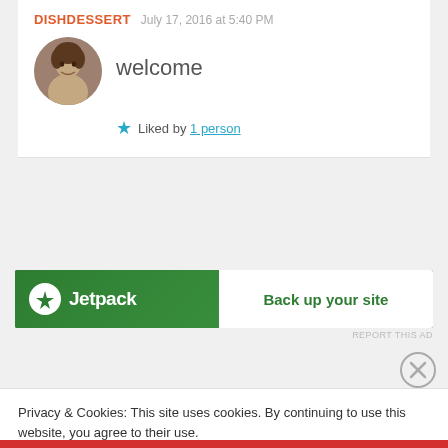DISHDESSERT   July 17, 2016 at 5:40 PM
welcome
★ Liked by 1 person
[Figure (infographic): Jetpack ad banner: green background with Jetpack logo on left and 'Back up your site' white button on right]
REPORT THIS AD
[Figure (illustration): Close button (X in circle) for cookie banner]
Privacy & Cookies: This site uses cookies. By continuing to use this website, you agree to their use.
To find out more, including how to control cookies, see here: Cookie Policy
Close and accept